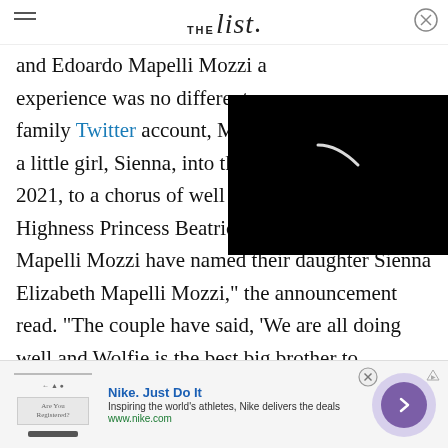THE list
and Edoardo Mapelli Mozzi a experience was no different. family Twitter account, Moz a little girl, Sienna, into the w 2021, to a chorus of well wishes. "Her Royal Highness Princess Beatrice and Mr. Edoardo Mapelli Mozzi have named their daughter Sienna Elizabeth Mapelli Mozzi," the announcement read. "The couple have said, 'We are all doing well and Wolfie is the best big brother to Sienna.'"
[Figure (screenshot): Black video player overlay with loading spinner arc in white]
[Figure (other): Nike advertisement banner with Nike logo image, bold blue title 'Nike. Just Do It', description text 'Inspiring the world's athletes, Nike delivers the deals', green URL 'www.nike.com', and purple arrow button]